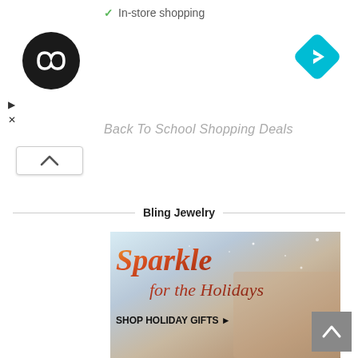✓ In-store shopping
[Figure (logo): Black circular logo with white infinity/loop symbol]
[Figure (other): Blue diamond-shaped navigation arrow icon pointing right]
▷
✕
Back To School Shopping Deals
[Figure (other): Collapse/chevron up button]
Bling Jewelry
[Figure (photo): Holiday jewelry advertisement showing text 'Sparkle for the Holidays' and 'SHOP HOLIDAY GIFTS ▶' with photo of woman looking up and man, holiday decorations]
[Figure (other): Scroll-to-top button with upward chevron]